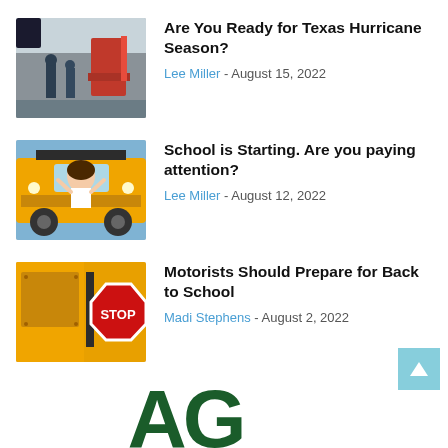[Figure (photo): People loading or preparing items outdoors, with construction/industrial equipment visible in background]
Are You Ready for Texas Hurricane Season?
Lee Miller - August 15, 2022
[Figure (photo): Young girl standing in front of a yellow school bus with arms raised]
School is Starting. Are you paying attention?
Lee Miller - August 12, 2022
[Figure (photo): A school bus stop sign arm extended with a red STOP sign, yellow bus visible]
Motorists Should Prepare for Back to School
Madi Stephens - August 2, 2022